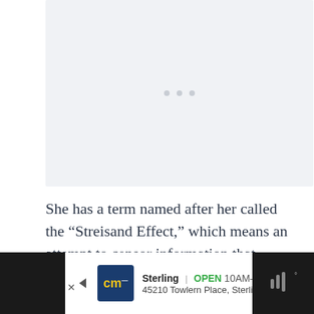[Figure (other): Advertisement placeholder area with light gray background and three small gray dots centered]
She has a term named after her called the “Streisand Effect,” which means an attempt to censor information that unintentionally communicates it.
[Figure (other): Advertisement banner showing CM logo, Sterling store info: OPEN 10AM-9PM, 45210 Towlern Place, Sterling, with navigation arrow icon]